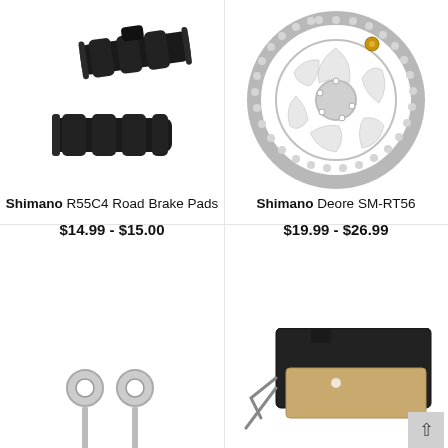[Figure (photo): Two black rubber brake pads for road bikes, shown stacked slightly offset]
Shimano
R55C4 Road Brake Pads
$14.99 - $15.00
[Figure (photo): Shimano disc brake rotor, silver metal with cutout pattern and gold bolt, Deore SM-RT56]
Shimano
Deore SM-RT56
$19.99 - $26.99
[Figure (photo): Two silver cable end caps, partially visible at bottom left]
[Figure (photo): Shimano disc brake pads with metal backing plate, partially visible at bottom right, with back-to-top arrow button overlay]